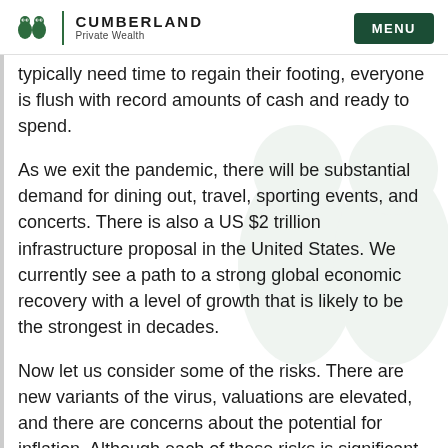CUMBERLAND Private Wealth | MENU
typically need time to regain their footing, everyone is flush with record amounts of cash and ready to spend.
As we exit the pandemic, there will be substantial demand for dining out, travel, sporting events, and concerts. There is also a US $2 trillion infrastructure proposal in the United States. We currently see a path to a strong global economic recovery with a level of growth that is likely to be the strongest in decades.
Now let us consider some of the risks. There are new variants of the virus, valuations are elevated, and there are concerns about the potential for inflation. Although each of these risks is significant, we believe they are all manageable.